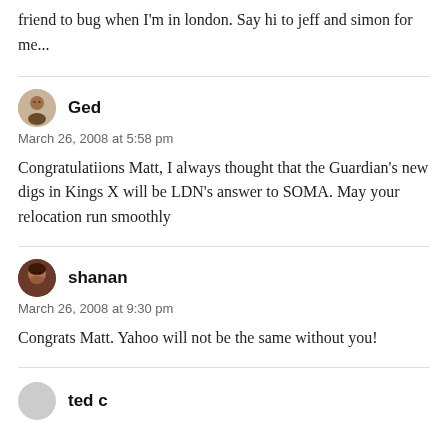friend to bug when I'm in london. Say hi to jeff and simon for me...
Ged
March 26, 2008 at 5:58 pm

Congratulatiions Matt, I always thought that the Guardian's new digs in Kings X will be LDN's answer to SOMA. May your relocation run smoothly
shanan
March 26, 2008 at 9:30 pm

Congrats Matt. Yahoo will not be the same without you!
ted c